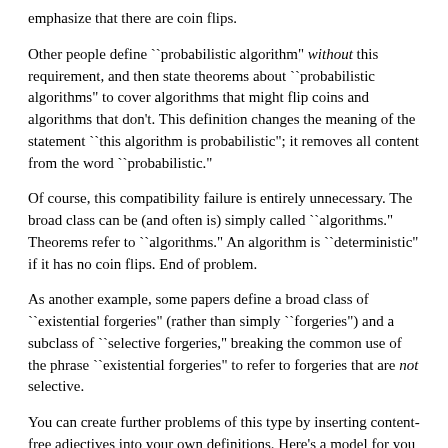emphasize that there are coin flips.
Other people define ``probabilistic algorithm" without this requirement, and then state theorems about ``probabilistic algorithms" to cover algorithms that might flip coins and algorithms that don't. This definition changes the meaning of the statement ``this algorithm is probabilistic"; it removes all content from the word ``probabilistic."
Of course, this compatibility failure is entirely unnecessary. The broad class can be (and often is) simply called ``algorithms." Theorems refer to ``algorithms." An algorithm is ``deterministic" if it has no coin flips. End of problem.
As another example, some papers define a broad class of ``existential forgeries" (rather than simply ``forgeries") and a subclass of ``selective forgeries," breaking the common use of the phrase ``existential forgeries" to refer to forgeries that are not selective.
You can create further problems of this type by inserting content-free adjectives into your own definitions. Here's a model for you to follow: rather than defining a set of ``integers" of which some are ``nonnegative integers," you can define a set of ``signed integers" of which some are ``nonnegative integers."